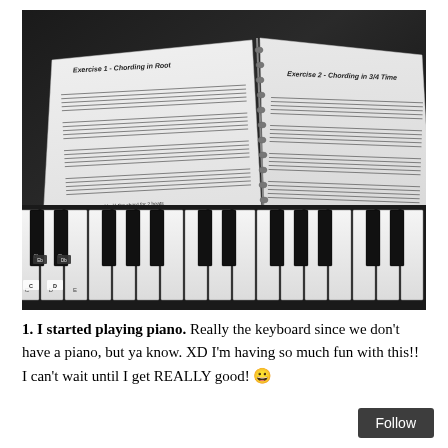[Figure (photo): Black and white photograph of a spiral-bound sheet music book open on top of a keyboard/piano. The left page shows 'Exercise 1 - Chording in Root' and the right page shows 'Exercise 2 - Chording in 3/4 Time' with musical notation and tablature. Piano keys are visible in the foreground with note labels (C, D, Db, Eb) stickered on them.]
1. I started playing piano. Really the keyboard since we don't have a piano, but ya know. XD I'm having so much fun with this!! I can't wait until I get REALLY good! 😀